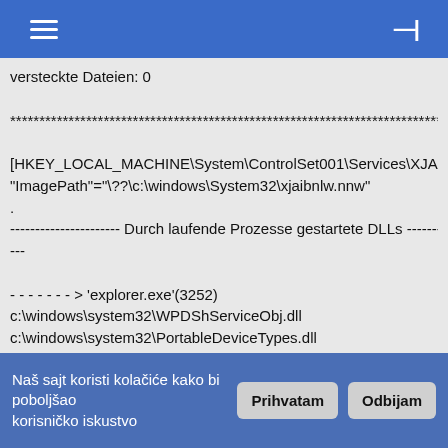[Figure (screenshot): Mobile app top navigation bar with hamburger menu icon and right-align icon on blue background]
versteckte Dateien: 0

********************************************************************************

[HKEY_LOCAL_MACHINE\System\ControlSet001\Services\XJAIBNLW]
"ImagePath"="\??\c:\windows\System32\xjaibnlw.nnw"
.
---------------------- Durch laufende Prozesse gestartete DLLs -------------------
---

- - - - - - - > 'explorer.exe'(3252)
c:\windows\system32\WPDShServiceObj.dll
c:\windows\system32\PortableDeviceTypes.dll
c:\windows\system32\PortableDeviceApi.dll
.
-------------------------- Weitere laufende Prozesse ---------------------------
.
c:\windows\System32\Ati2evxx.exe
c:\windows\System32\brss01a.exe
c:\aaa\cManager\cpbmServ.exe
Naš sajt koristi kolačiće kako bi poboljšao korisničko iskustvo